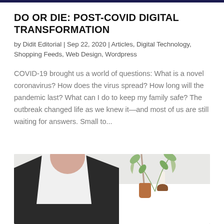DO OR DIE: POST-COVID DIGITAL TRANSFORMATION
by Didit Editorial | Sep 22, 2020 | Articles, Digital Technology, Shopping Feeds, Web Design, Wordpress
COVID-19 brought us a world of questions: What is a novel coronavirus? How does the virus spread? How long will the pandemic last? What can I do to keep my family safe? The outbreak changed life as we knew it—and most of us are still waiting for answers. Small to...
[Figure (photo): A person in a black blazer over a white shirt seated at a white table, with a plant in a vase and a candle on a wooden holder in the background against a white wall.]